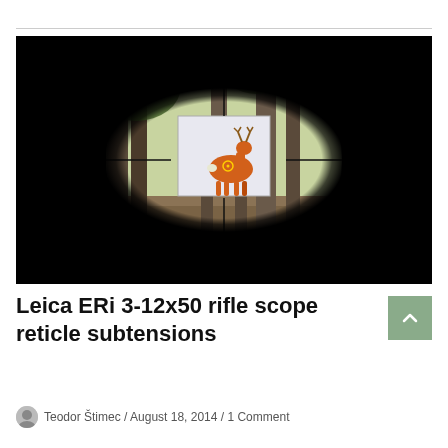[Figure (photo): View through a rifle scope showing a deer target on a stand in a forest. The scope has crosshairs centered on the target. The image has a circular vignette (black corners) characteristic of through-scope photography. A watermark 'www.optics-trade.eu' appears bottom-left and 'Optics trade' logo bottom-right.]
Leica ERi 3-12x50 rifle scope reticle subtensions
Teodor Štimec / August 18, 2014 / 1 Comment